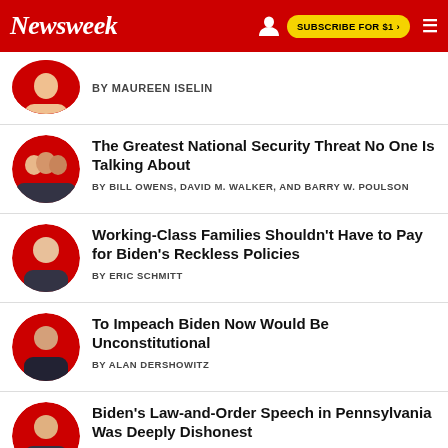Newsweek — SUBSCRIBE FOR $1 >
BY MAUREEN ISELIN
The Greatest National Security Threat No One Is Talking About
BY BILL OWENS, DAVID M. WALKER, AND BARRY W. POULSON
Working-Class Families Shouldn't Have to Pay for Biden's Reckless Policies
BY ERIC SCHMITT
To Impeach Biden Now Would Be Unconstitutional
BY ALAN DERSHOWITZ
Biden's Law-and-Order Speech in Pennsylvania Was Deeply Dishonest
BY JOHN R. LOTT, JR.